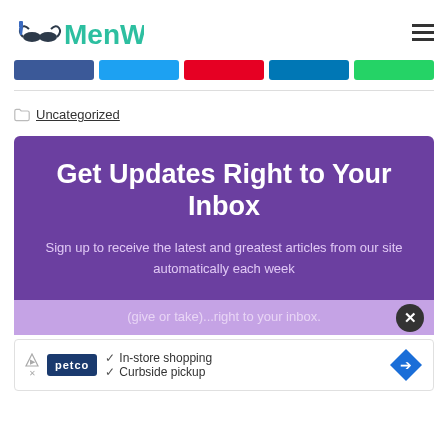MenWit
[Figure (infographic): Social media share buttons: Facebook, Twitter, Pinterest, LinkedIn, WhatsApp]
Uncategorized
[Figure (infographic): Newsletter signup box with purple background. Title: Get Updates Right to Your Inbox. Body: Sign up to receive the latest and greatest articles from our site automatically each week (give or take)...right to your inbox.]
[Figure (screenshot): Advertisement banner for Petco showing: In-store shopping, Curbside pickup]